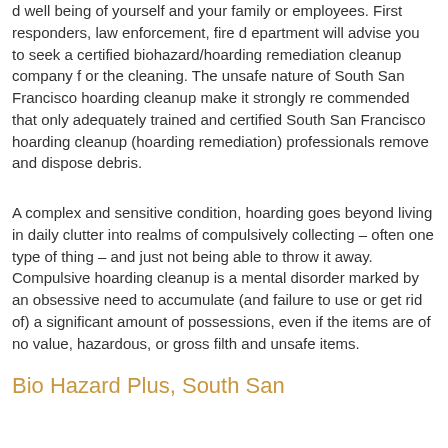d well being of yourself and your family or employees. First responders, law enforcement, fire department will advise you to seek a certified biohazard/hoarding remediation cleanup company for the cleaning. The unsafe nature of South San Francisco hoarding cleanup make it strongly recommended that only adequately trained and certified South San Francisco hoarding cleanup (hoarding remediation) professionals remove and dispose debris.
A complex and sensitive condition, hoarding goes beyond living in daily clutter into realms of compulsively collecting – often one type of thing – and just not being able to throw it away. Compulsive hoarding cleanup is a mental disorder marked by an obsessive need to accumulate (and failure to use or get rid of) a significant amount of possessions, even if the items are of no value, hazardous, or gross filth and unsafe items.
Bio Hazard Plus, South San